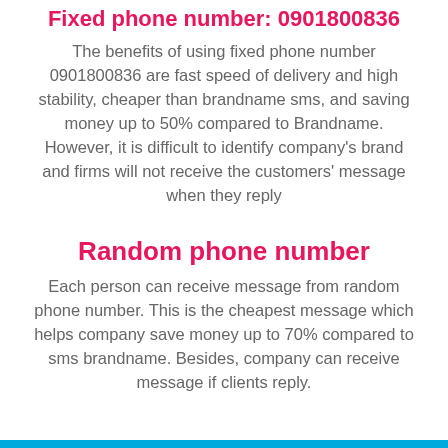Fixed phone number: 0901800836
The benefits of using fixed phone number 0901800836 are fast speed of delivery and high stability, cheaper than brandname sms, and saving money up to 50% compared to Brandname. However, it is difficult to identify company's brand and firms will not receive the customers' message when they reply
Random phone number
Each person can receive message from random phone number. This is the cheapest message which helps company save money up to 70% compared to sms brandname. Besides, company can receive message if clients reply.